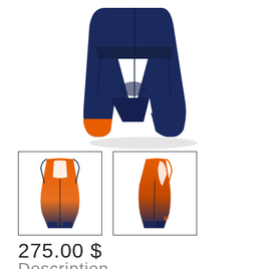[Figure (illustration): Main product image: navy blue and orange triathlon/cycling bib shorts shown from front/side angle with orange band at bottom leg opening, displayed on white background with shadow]
[Figure (illustration): Thumbnail 1: Front view of navy blue and orange triathlon suit/skinsuit with orange gradient top and navy bottom]
[Figure (illustration): Thumbnail 2: Side/back view of the same navy blue and orange triathlon suit/skinsuit]
275.00 $
Description